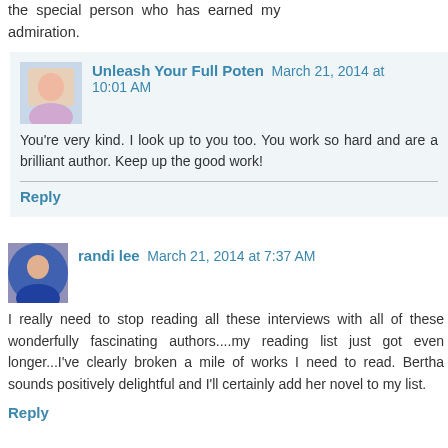the special person who has earned my admiration.
Unleash Your Full Poten March 21, 2014 at 10:01 AM
You're very kind. I look up to you too. You work so hard and are a brilliant author. Keep up the good work!
Reply
randi lee March 21, 2014 at 7:37 AM
I really need to stop reading all these interviews with all of these wonderfully fascinating authors....my reading list just got even longer...I've clearly broken a mile of works I need to read. Bertha sounds positively delightful and I'll certainly add her novel to my list.
Reply